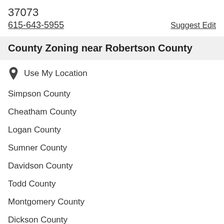37073
615-643-5955
Suggest Edit
County Zoning near Robertson County
Use My Location
Simpson County
Cheatham County
Logan County
Sumner County
Davidson County
Todd County
Montgomery County
Dickson County
Allen County